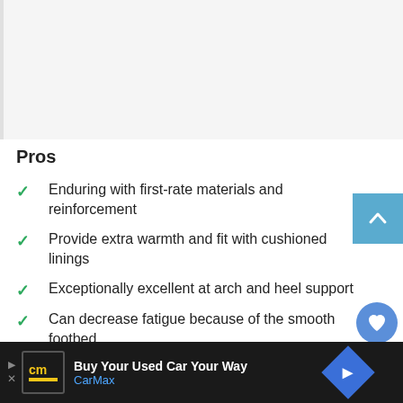[Figure (other): Gray placeholder image area at top of page]
Pros
Enduring with first-rate materials and reinforcement
Provide extra warmth and fit with cushioned linings
Exceptionally excellent at arch and heel support
Can decrease fatigue because of the smooth footbed
Quickly wearing and removing with inside
[Figure (screenshot): CarMax advertisement bar at bottom: 'Buy Your Used Car Your Way' with CarMax logo and navigation arrow icon]